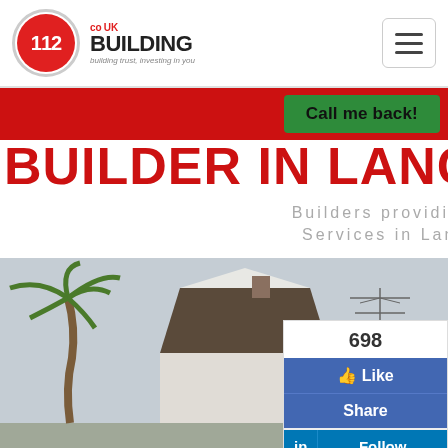[Figure (logo): 112 Building co.uk logo with circular red emblem and hamburger menu button]
Call me back!
BUILDER IN LANCASTER GATE
Builders providing Construction Services in Lancaster Gate
[Figure (photo): Photograph of a house with triangular window feature, palm tree on left, satellite dish on right, overcast sky]
698
Like
Share
in Follow
832